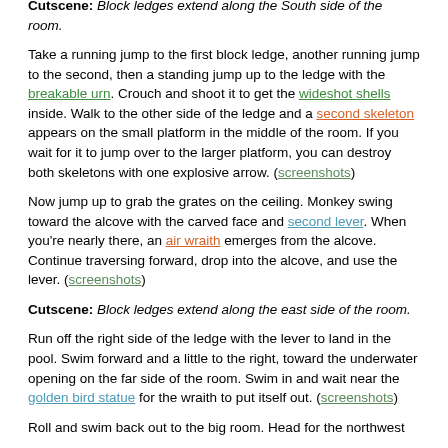Cutscene: Block ledges extend along the south side of the room.
Take a running jump to the first block ledge, another running jump to the second, then a standing jump up to the ledge with the breakable urn. Crouch and shoot it to get the wideshot shells inside. Walk to the other side of the ledge and a second skeleton appears on the small platform in the middle of the room. If you wait for it to jump over to the larger platform, you can destroy both skeletons with one explosive arrow. (screenshots)
Now jump up to grab the grates on the ceiling. Monkey swing toward the alcove with the carved face and second lever. When you're nearly there, an air wraith emerges from the alcove. Continue traversing forward, drop into the alcove, and use the lever. (screenshots)
Cutscene: Block ledges extend along the east side of the room.
Run off the right side of the ledge with the lever to land in the pool. Swim forward and a little to the right, toward the underwater opening on the far side of the room. Swim in and wait near the golden bird statue for the wraith to put itself out. (screenshots)
Roll and swim back out to the big room. Head for the northwest